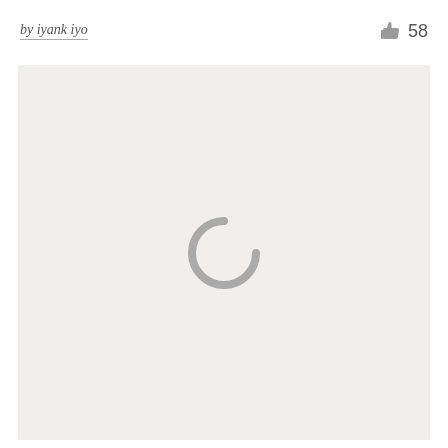by iyank iyo  👍 58
[Figure (screenshot): Light gray content area with a loading spinner (C-shaped arc) centered in the middle, indicating content is being loaded.]